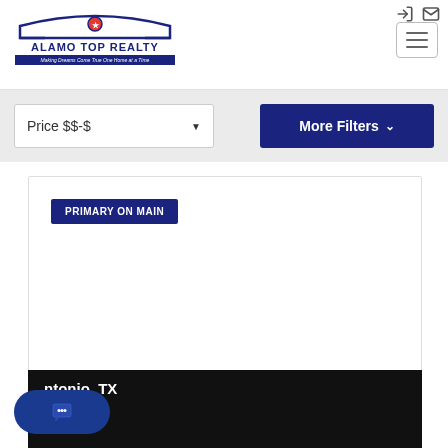[Figure (logo): Alamo Top Realty logo with arch design and tagline 'Making Dreams Come True One Home at a Time']
[Figure (other): Hamburger menu icon button (three horizontal lines) in top right]
[Figure (other): Login and mail icons in top right corner]
Price $$-$
More Filters
PRIMARY ON MAIN
ntonio, TX
[Figure (other): Chat bubble widget with animated dots in bottom left corner]